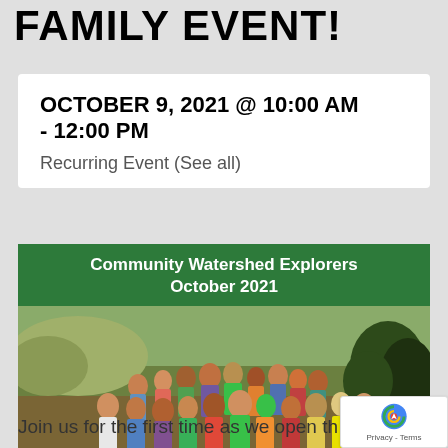FAMILY EVENT!
OCTOBER 9, 2021 @ 10:00 AM - 12:00 PM
Recurring Event (See all)
[Figure (photo): Community Watershed Explorers October 2021 - green banner header with group photo of children and adults outdoors in a natural setting]
Join us for the first time as we open th